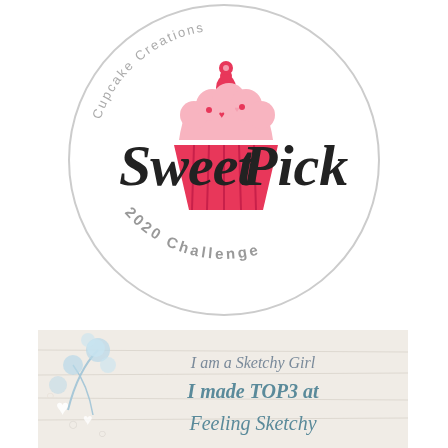[Figure (logo): Sweet Pick 2020 Challenge badge — circular stamp with a pink cupcake illustration in the center, 'Sweet Pick' in large script lettering, and '2020 Challenge' curved along the bottom arc in gray text.]
[Figure (illustration): Banner image with rustic white wood background decorated with light blue fluffy floral sprigs and small white hearts on the left. Text reads: 'I am a Sketchy Girl' in italic gray, 'I made TOP3 at' in bold teal, 'Feeling Sketchy' in italic teal — cropped at bottom.]